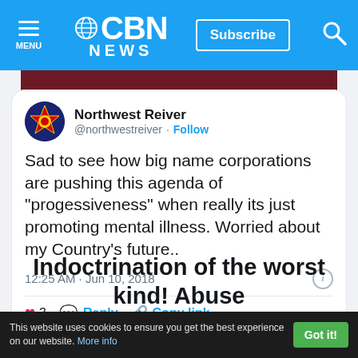CBN NEWS | Subscribe
[Figure (screenshot): Partial image strip showing dark red/maroon background, cropped person image]
Northwest Reiver @northwestreiver · Follow

Sad to see how big name corporations are pushing this agenda of "progessiveness" when really its just promoting mental illness. Worried about my Country's future..

12:25 AM · Jun 10, 2018

♥ 3  Reply  Copy link

Read 1 reply
Indoctrination of the worst kind! Abuse
This website uses cookies to ensure you get the best experience on our website. More info   Got it!